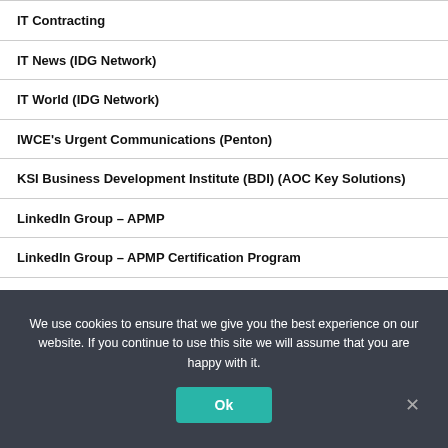IT Contracting
IT News (IDG Network)
IT World (IDG Network)
IWCE's Urgent Communications (Penton)
KSI Business Development Institute (BDI) (AOC Key Solutions)
LinkedIn Group – APMP
LinkedIn Group – APMP Certification Program
LinkedIn Group – Bid and Proposal Con
We use cookies to ensure that we give you the best experience on our website. If you continue to use this site we will assume that you are happy with it.